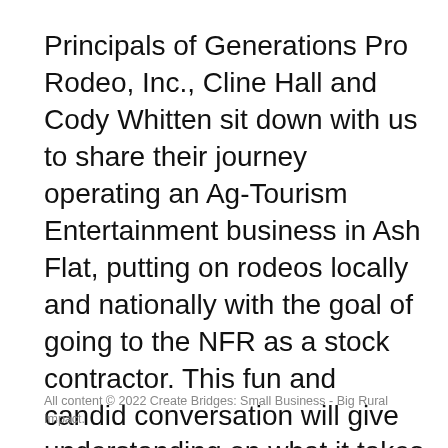Principals of Generations Pro Rodeo, Inc., Cline Hall and Cody Whitten sit down with us to share their journey operating an Ag-Tourism Entertainment business in Ash Flat, putting on rodeos locally and nationally with the goal of going to the NFR as a stock contractor. This fun and candid conversation will give understanding on what it takes to put on a rodeo and how is relatable to any small business. Part two will be released on Dec. 31 to carry us to 2021.
All content © 2022 Create Bridges: Small Business - Big Rural Impact.